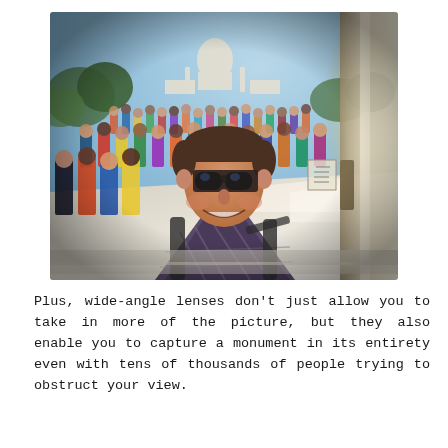[Figure (photo): A wide-angle fisheye selfie taken at the Taj Mahal, India. A young man with sunglasses smiles at the camera in the foreground. Behind him is a large crowd of tourists on the marble platform. The Taj Mahal monument is visible in the background under a clear sky. Trees line the sides. The image has a characteristic fisheye lens distortion making the scene appear curved.]
Plus, wide-angle lenses don't just allow you to take in more of the picture, but they also enable you to capture a monument in its entirety even with tens of thousands of people trying to obstruct your view.